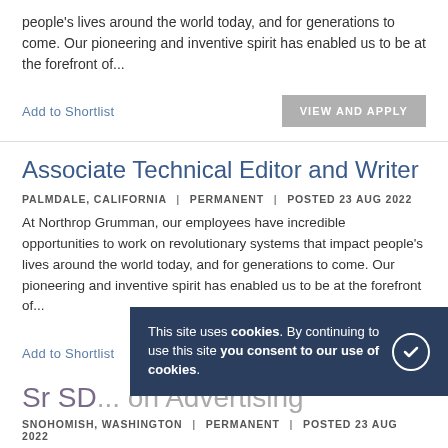people's lives around the world today, and for generations to come. Our pioneering and inventive spirit has enabled us to be at the forefront of...
Add to Shortlist
VIEW AND APPLY
Associate Technical Editor and Writer
PALMDALE, CALIFORNIA | PERMANENT | POSTED 23 AUG 2022
At Northrop Grumman, our employees have incredible opportunities to work on revolutionary systems that impact people's lives around the world today, and for generations to come. Our pioneering and inventive spirit has enabled us to be at the forefront of...
Add to Shortlist
VIEW AND APPLY
This site uses cookies. By continuing to use this site you consent to our use of cookies.
Sr SD... on Advertising
SNOHOMISH, WASHINGTON | PERMANENT | POSTED 23 AUG 2022